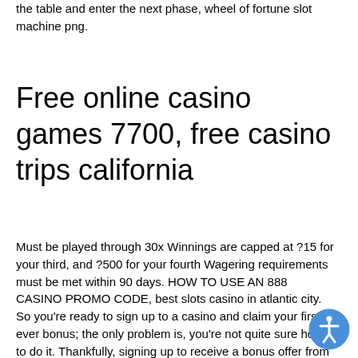the table and enter the next phase, wheel of fortune slot machine png.
Free online casino games 7700, free casino trips california
Must be played through 30x Winnings are capped at ?15 for your third, and ?500 for your fourth Wagering requirements must be met within 90 days. HOW TO USE AN 888 CASINO PROMO CODE, best slots casino in atlantic city. So you're ready to sign up to a casino and claim your first-ever bonus; the only problem is, you're not quite sure how to do it. Thankfully, signing up to receive a bonus offer from a casino is an incredibly straightforward process, and once you have done it, you will have no problems doing it again in the future. Claiming a bonus may change ever so slightly depending on what